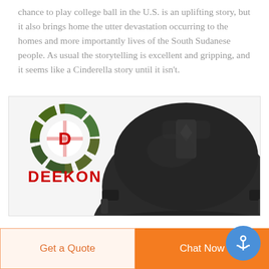chance to play college ball in the U.S. is an uplifting story, but it also brings home the utter devastation occurring to the homes and more importantly lives of the South Sudanese people. As usual the storytelling is excellent and gripping, and it seems like a Cinderella story until it isn't.
[Figure (photo): A black military/tactical helmet (MICH/FAST style) photographed from the front against a white background. In the upper left corner is the DEEKON brand logo: a circular camo-patterned target symbol with a red 'D' in the center, and the word 'DEEKON' in bold red text below it.]
Get a Quote
Chat Now